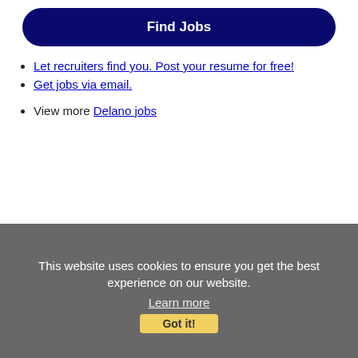Find Jobs
Let recruiters find you. Post your resume for free!
Get jobs via email.
View more Delano jobs
This website uses cookies to ensure you get the best experience on our website. Learn more Got it!
Other Jobs
Surg Tech - $2,629.00/40 hr week - San Luis Obispo, CA
Description: 2,629.00 total gross weekly for 40 hours Stipends: 1,349.31
Company: Nurse 2 Nurse Staffing
Location: San Luis Obispo